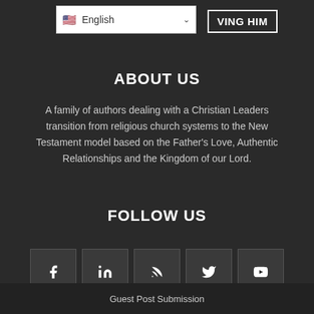English | VING HIM
ABOUT US
A family of authors dealing with a Christian Leaders transition from religious church systems to the New Testament model based on the Father's Love, Authentic Relationships and the Kingdom of our Lord.
FOLLOW US
[Figure (infographic): Row of five social media icon buttons: Facebook (f), LinkedIn (in), RSS feed, Twitter bird, YouTube play button]
Guest Post Submission